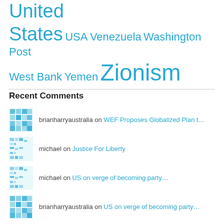United States USA Venezuela Washington Post West Bank Yemen Zionism
Recent Comments
brianharryaustralia on WEF Proposes Globalized Plan t…
michael on Justice For Liberty
michael on US on verge of becoming party…
brianharryaustralia on US on verge of becoming party…
brianharryaustralia on Justice For Liberty
brianharryaustralia on Russia's energy export revenue…
brianharryaustralia on Venezuela Stops Oil Shipments…